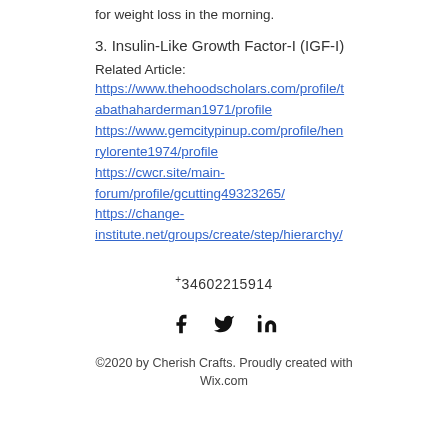for weight loss in the morning.
3. Insulin-Like Growth Factor-I (IGF-I)
Related Article:
https://www.thehoodscholars.com/profile/tabathaharderman1971/profile
https://www.gemcitypinup.com/profile/henrylorente1974/profile
https://cwcr.site/main-forum/profile/gcutting49323265/
https://change-institute.net/groups/create/step/hierarchy/
+34602215914
[Figure (infographic): Social media icons: Facebook (f), Twitter (bird), LinkedIn (in)]
©2020 by Cherish Crafts. Proudly created with Wix.com